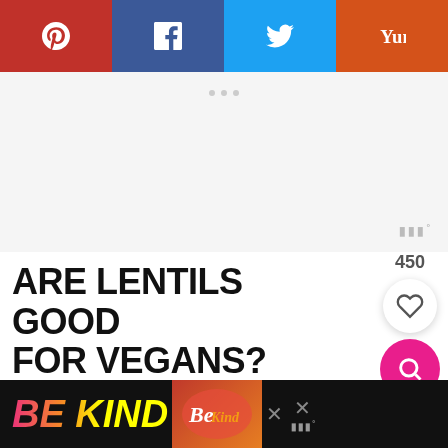[Figure (other): Social share bar with Pinterest (red), Facebook (blue), Twitter (light blue), and Yummly (orange) buttons]
[Figure (other): Advertisement placeholder area, light gray background with three small dots at top center and a watermark badge at bottom right]
ARE LENTILS GOOD FOR VEGANS?
Yes, lentils are fantastic for vegans to
[Figure (other): Bottom advertisement banner on dark background with colorful 'BE KIND' text and decorative graphic element, with close (x) buttons]